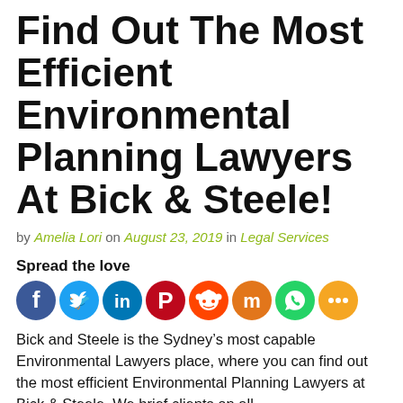Find Out The Most Efficient Environmental Planning Lawyers At Bick & Steele!
by Amelia Lori on August 23, 2019 in Legal Services
Spread the love
[Figure (infographic): Social media sharing icons: Facebook, Twitter, LinkedIn, Pinterest, Reddit, Mix, WhatsApp, Share]
Bick and Steele is the Sydney’s most capable Environmental Lawyers place, where you can find out the most efficient Environmental Planning Lawyers at Bick & Steele. We brief clients on all